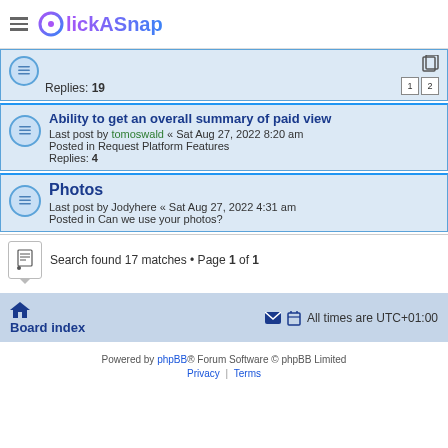ClickASnap
Replies: 19
Ability to get an overall summary of paid view
Last post by tomoswald « Sat Aug 27, 2022 8:20 am
Posted in Request Platform Features
Replies: 4
Photos
Last post by Jodyhere « Sat Aug 27, 2022 4:31 am
Posted in Can we use your photos?
Search found 17 matches • Page 1 of 1
Board index
All times are UTC+01:00
Powered by phpBB® Forum Software © phpBB Limited
Privacy | Terms